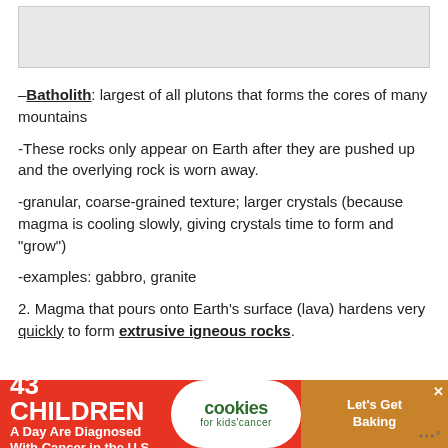[Figure (other): Gray placeholder image at top of page]
–Batholith: largest of all plutons that forms the cores of many mountains
-These rocks only appear on Earth after they are pushed up and the overlying rock is worn away.
-granular, coarse-grained texture; larger crystals (because magma is cooling slowly, giving crystals time to form and “grow”)
-examples: gabbro, granite
2. Magma that pours onto Earth’s surface (lava) hardens very quickly to form extrusive igneous rocks.
[Figure (other): Advertisement banner: 43 Children A Day Are Diagnosed With Cancer in the U.S. / cookies for kids cancer / Let's Get Baking]